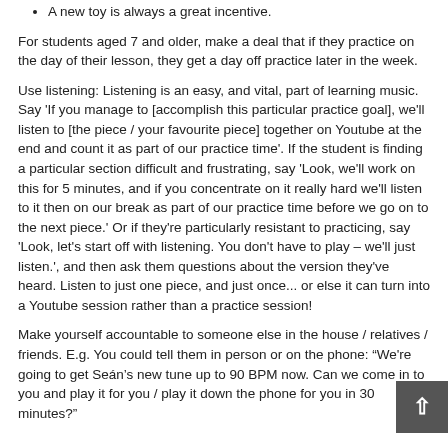A new toy is always a great incentive.
For students aged 7 and older, make a deal that if they practice on the day of their lesson, they get a day off practice later in the week.
Use listening: Listening is an easy, and vital, part of learning music. Say 'If you manage to [accomplish this particular practice goal], we'll listen to [the piece / your favourite piece] together on Youtube at the end and count it as part of our practice time'. If the student is finding a particular section difficult and frustrating, say 'Look, we'll work on this for 5 minutes, and if you concentrate on it really hard we'll listen to it then on our break as part of our practice time before we go on to the next piece.' Or if they're particularly resistant to practicing, say 'Look, let's start off with listening. You don't have to play – we'll just listen.', and then ask them questions about the version they've heard. Listen to just one piece, and just once... or else it can turn into a Youtube session rather than a practice session!
Make yourself accountable to someone else in the house / relatives / friends. E.g. You could tell them in person or on the phone: "We're going to get Seán's new tune up to 90 BPM now. Can we come in to you and play it for you / play it down the phone for you in 30 minutes?"